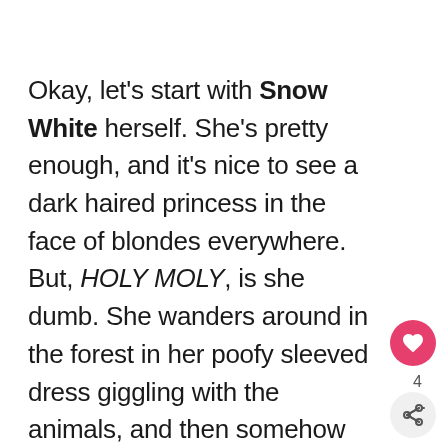Okay, let's start with Snow White herself. She's pretty enough, and it's nice to see a dark haired princess in the face of blondes everywhere. But, HOLY MOLY, is she dumb. She wanders around in the forest in her poofy sleeved dress giggling with the animals, and then somehow makes the amazing decision to go inside an empty cabin miles and miles away from everything with no one to hear her scream.